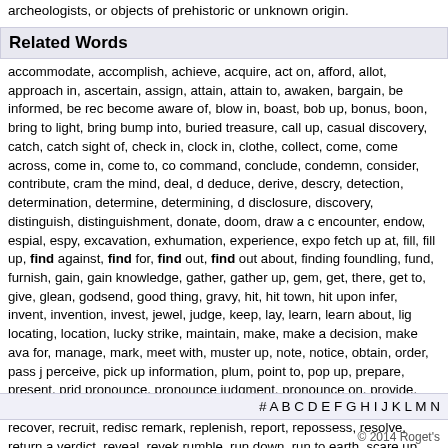archeologists, or objects of prehistoric or unknown origin.
Related Words
accommodate, accomplish, achieve, acquire, act on, afford, allot, approach in, ascertain, assign, attain, attain to, awaken, bargain, be informed, be rec become aware of, blow in, boast, bob up, bonus, boon, bring to light, bring bump into, buried treasure, call up, casual discovery, catch, catch sight of, check in, clock in, clothe, collect, come, come across, come in, come to, co command, conclude, condemn, consider, contribute, cram the mind, deal, d deduce, derive, descry, detection, determination, determine, determining, d disclosure, discovery, distinguish, distinguishment, donate, doom, draw a c encounter, endow, espial, espy, excavation, exhumation, experience, expo fetch up at, fill, fill up, find against, find for, find out, find out about, finding foundling, fund, furnish, gain, gain knowledge, gather, gather up, gem, get, there, get to, give, glean, godsend, good thing, gravy, hit, hit town, hit upon infer, invent, invention, invest, jewel, judge, keep, lay, learn, learn about, lig locating, location, lucky strike, maintain, make, make a decision, make ava for, manage, mark, meet with, muster up, note, notice, obtain, order, pass j perceive, pick up information, plum, point to, pop up, prepare, present, prid pronounce, pronounce judgment, pronounce on, provide, provide for, pull in reason, reason that, recognition, recognize, recoup, recover, recruit, redisc remark, replenish, report, repossess, resolve, return a verdict, reveal, revek rumble, run down, run to earth, scare up, secure, see, sentence, serendipity sight, sign in, spot, spotting, stock, store, strike, subsidize, summon up, sup think, time in, trace, trace down, track down, treasure, treasure trove, troph turn over, turn up, twig, uncover, uncovering, understand, unearth, unearth waifs, waifs and strays, win, windfall, windfall money, windfall profit, winner
# A B C D E F G H I J K L M N
© 2014 Roget's